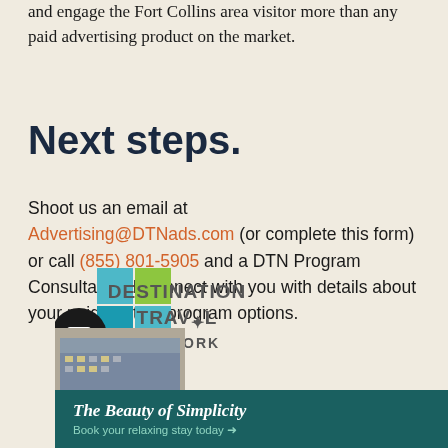and engage the Fort Collins area visitor more than any paid advertising product on the market.
Next steps.
Shoot us an email at Advertising@DTNads.com (or complete this form) or call (855) 801-5905 and a DTN Program Consultant will connect with you with details about your paid content program options.
[Figure (logo): Destination Travel Network logo with colorful grid squares and a globe/book icon in a black circle. Below is a hotel photo with a teal banner reading 'The Beauty of Simplicity – Book your relaxing stay today →']